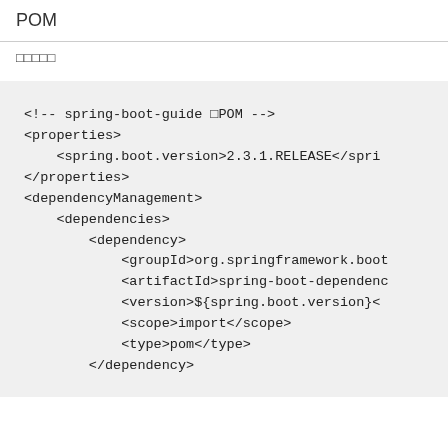POM
□□□□□
<!-- spring-boot-guide □POM -->
<properties>
    <spring.boot.version>2.3.1.RELEASE</spring.boot.version>
</properties>
<dependencyManagement>
    <dependencies>
        <dependency>
            <groupId>org.springframework.boot</groupId>
            <artifactId>spring-boot-dependencies</artifactId>
            <version>${spring.boot.version}</version>
            <scope>import</scope>
            <type>pom</type>
        </dependency>